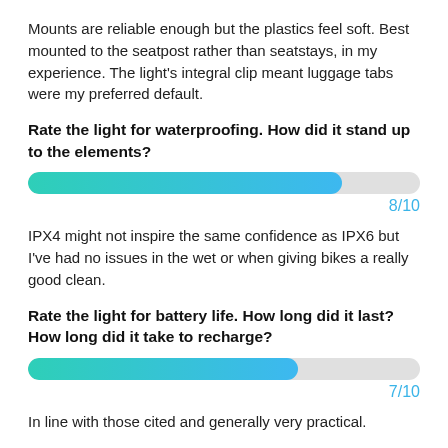Mounts are reliable enough but the plastics feel soft. Best mounted to the seatpost rather than seatstays, in my experience. The light's integral clip meant luggage tabs were my preferred default.
Rate the light for waterproofing. How did it stand up to the elements?
[Figure (other): Horizontal progress bar filled to approximately 80% with teal-to-blue gradient representing a score of 8/10]
8/10
IPX4 might not inspire the same confidence as IPX6 but I've had no issues in the wet or when giving bikes a really good clean.
Rate the light for battery life. How long did it last? How long did it take to recharge?
[Figure (other): Horizontal progress bar filled to approximately 69% with teal-to-blue gradient representing a score of 7/10]
7/10
In line with those cited and generally very practical.